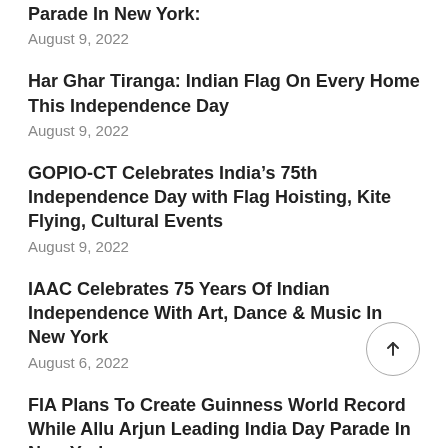Parade In New York:
August 9, 2022
Har Ghar Tiranga: Indian Flag On Every Home This Independence Day
August 9, 2022
GOPIO-CT Celebrates India’s 75th Independence Day with Flag Hoisting, Kite Flying, Cultural Events
August 9, 2022
IAAC Celebrates 75 Years Of Indian Independence With Art, Dance & Music In New York
August 6, 2022
FIA Plans To Create Guinness World Record While Allu Arjun Leading India Day Parade In New York:
August 6, 2022